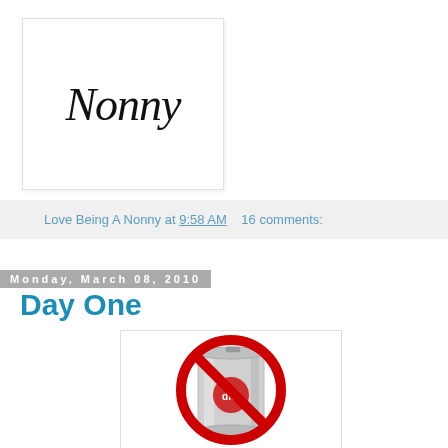[Figure (logo): Nonny blog logo — cursive script text reading 'Nonny' in black on white background with light border]
Love Being A Nonny at 9:58 AM   16 comments:
Monday, March 08, 2010
Day One
[Figure (illustration): No soda / no diet cola image: a soda can with red prohibition circle-slash sign over it]